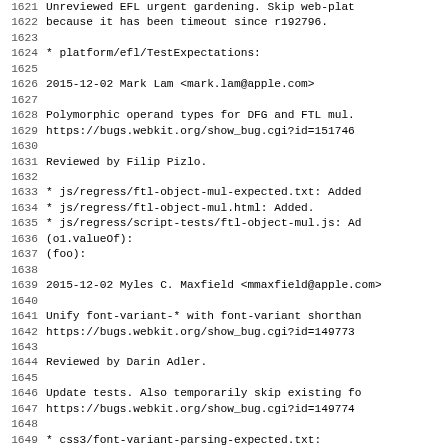Source code changelog/commit log excerpt showing lines 1621-1652, including entries for Mark Lam (2015-12-02) about Polymorphic operand types for DFG and FTL mul, and Myles C. Maxfield (2015-12-02) about Unify font-variant-* with font-variant shorthand.